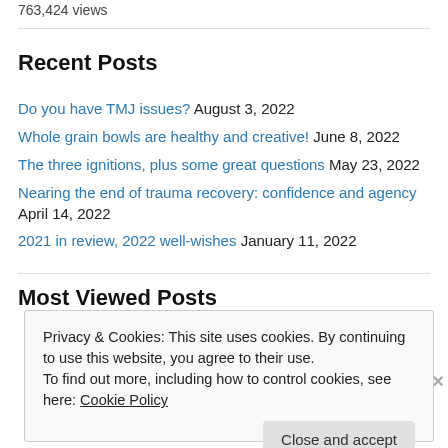763,424 views
Recent Posts
Do you have TMJ issues? August 3, 2022
Whole grain bowls are healthy and creative! June 8, 2022
The three ignitions, plus some great questions May 23, 2022
Nearing the end of trauma recovery: confidence and agency April 14, 2022
2021 in review, 2022 well-wishes January 11, 2022
Most Viewed Posts
Privacy & Cookies: This site uses cookies. By continuing to use this website, you agree to their use. To find out more, including how to control cookies, see here: Cookie Policy
Close and accept